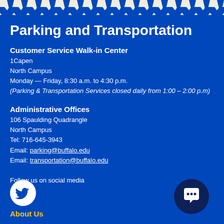Parking and Transportation
Customer Service Walk-in Center
1Capen
North Campus
Monday — Friday, 8:30 a.m. to 4:30 p.m.
(Parking & Transportation Services closed daily from 1:00 – 2:00 p.m)
Administrative Offices
106 Spaulding Quadrangle
North Campus
Tel: 716-645-3943
Email: parking@buffalo.edu
Email: transportation@buffalo.edu
Follow us on social media
[Figure (logo): Twitter bird icon in white circle]
[Figure (logo): Chat/speech bubble icon in dark navy circle]
About Us